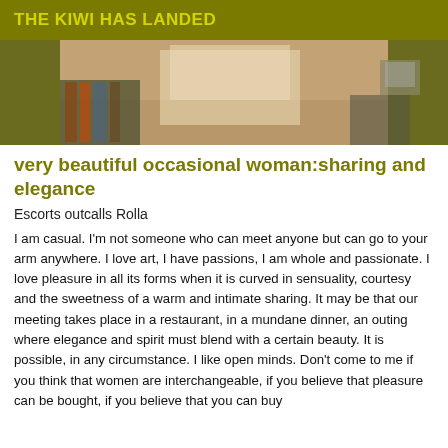THE KIWI HAS LANDED
[Figure (photo): Partial photo of a woman in a white skirt/dress, seated near bookshelves, cropped to show legs and lower body]
very beautiful occasional woman:sharing and elegance
Escorts outcalls Rolla
I am casual. I'm not someone who can meet anyone but can go to your arm anywhere. I love art, I have passions, I am whole and passionate. I love pleasure in all its forms when it is curved in sensuality, courtesy and the sweetness of a warm and intimate sharing. It may be that our meeting takes place in a restaurant, in a mundane dinner, an outing where elegance and spirit must blend with a certain beauty. It is possible, in any circumstance. I like open minds. Don't come to me if you think that women are interchangeable, if you believe that pleasure can be bought, if you believe that you can buy